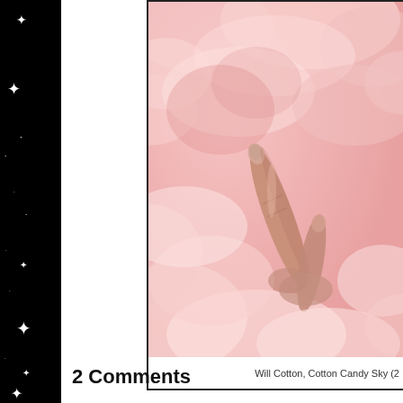[Figure (photo): Close-up photograph of a newborn baby hand resting on soft pink fluffy cotton candy or fabric material, pinkish warm tones]
Will Cotton, Cotton Candy Sky (2
2 Comments